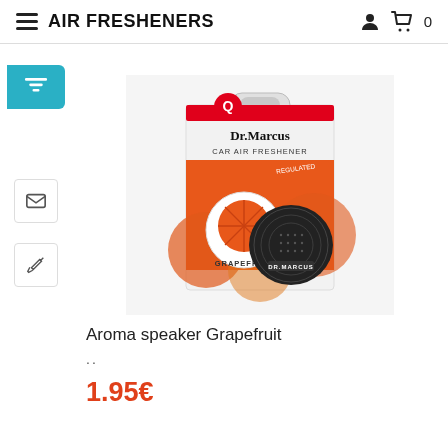AIR FRESHENERS
[Figure (photo): Dr. Marcus Car Air Freshener Aroma speaker Grapefruit product in orange packaging box with black circular speaker-style air freshener disc]
Aroma speaker Grapefruit
..
1.95€